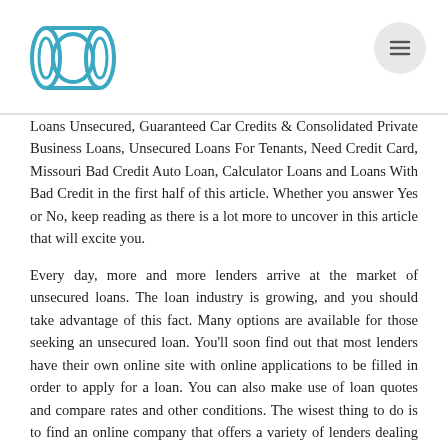[Logo and navigation menu]
Loans Unsecured, Guaranteed Car Credits & Consolidated Private Business Loans, Unsecured Loans For Tenants, Need Credit Card, Missouri Bad Credit Auto Loan, Calculator Loans and Loans With Bad Credit in the first half of this article. Whether you answer Yes or No, keep reading as there is a lot more to uncover in this article that will excite you.
Every day, more and more lenders arrive at the market of unsecured loans. The loan industry is growing, and you should take advantage of this fact. Many options are available for those seeking an unsecured loan. You'll soon find out that most lenders have their own online site with online applications to be filled in order to apply for a loan. You can also make use of loan quotes and compare rates and other conditions. The wisest thing to do is to find an online company that offers a variety of lenders dealing with unsecured personal loans. There are few of these, but they present you with the possibility to access many lenders from a single site without having to find them all. You'll be